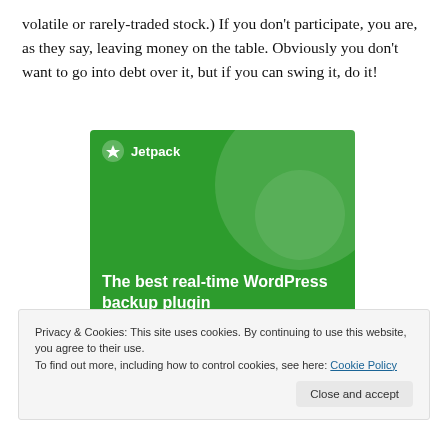volatile or rarely-traded stock.) If you don't participate, you are, as they say, leaving money on the table. Obviously you don't want to go into debt over it, but if you can swing it, do it!
[Figure (illustration): Jetpack advertisement banner: green background with decorative circles and the text 'The best real-time WordPress backup plugin' in white bold text. Jetpack logo and brand name at top.]
Privacy & Cookies: This site uses cookies. By continuing to use this website, you agree to their use.
To find out more, including how to control cookies, see here: Cookie Policy
Close and accept